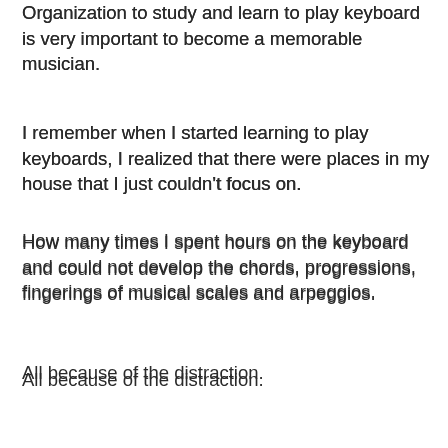Organization to study and learn to play keyboard is very important to become a memorable musician.
I remember when I started learning to play keyboards, I realized that there were places in my house that I just couldn't focus on.
How many times I spent hours on the keyboard and could not develop the chords, progressions, fingerings of musical scales and arpeggios.
All because of the distraction.
The first step in becoming a successful keyboard player is to organize a suitable place of study.
Eliminate distractions. Make no mistake, a special